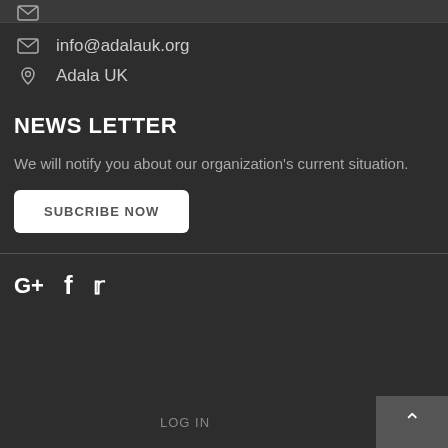info@adalauk.org
Adala UK
NEWS LETTER
We will notify you about our organization's current situation.
SUBCRIBE NOW
G+  f  ᵂ8
LOG IN